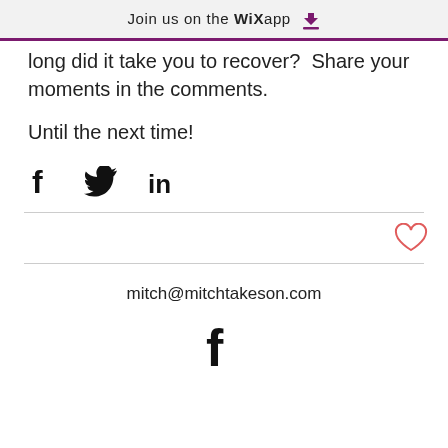Join us on the WiX app ↓
long did it take you to recover?  Share your moments in the comments.
Until the next time!
[Figure (other): Social share icons: Facebook (f), Twitter (bird), LinkedIn (in)]
[Figure (other): Heart/like icon (outline heart in coral/red)]
mitch@mitchtakeson.com
[Figure (other): Facebook icon (f) in footer]